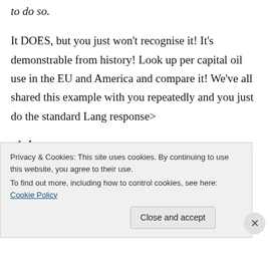to do so.
It DOES, but you just won't recognise it! It's demonstrable from history! Look up per capital oil use in the EU and America and compare it! We've all shared this example with you repeatedly and you just do the standard Lang response>
1. Ignore
2. Reassert question
3. Act like nobody ever said anything
Privacy & Cookies: This site uses cookies. By continuing to use this website, you agree to their use.
To find out more, including how to control cookies, see here: Cookie Policy